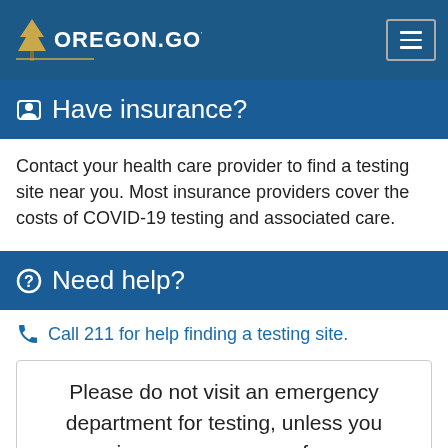Oregon.gov
Have insurance?
Contact your health care provider to find a testing site near you. Most insurance providers cover the costs of COVID-19 testing and associated care.
Need help?
Call 211 for help finding a testing site.
Please do not visit an emergency department for testing, unless you require emergency care for your symptoms.